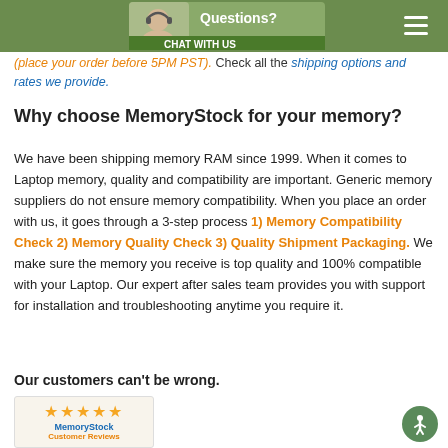[Figure (screenshot): Green header bar with a 'Questions? Chat With Us' banner featuring a customer service representative, and a hamburger menu icon on the right.]
(place your order before 5PM PST). Check all the shipping options and rates we provide.
Why choose MemoryStock for your memory?
We have been shipping memory RAM since 1999. When it comes to Laptop memory, quality and compatibility are important. Generic memory suppliers do not ensure memory compatibility. When you place an order with us, it goes through a 3-step process 1) Memory Compatibility Check 2) Memory Quality Check 3) Quality Shipment Packaging. We make sure the memory you receive is top quality and 100% compatible with your Laptop. Our expert after sales team provides you with support for installation and troubleshooting anytime you require it.
Our customers can't be wrong.
[Figure (screenshot): MemoryStock Customer Reviews box with 5 yellow stars, blue 'MemoryStock' text, and orange 'Customer Reviews' text on a light background.]